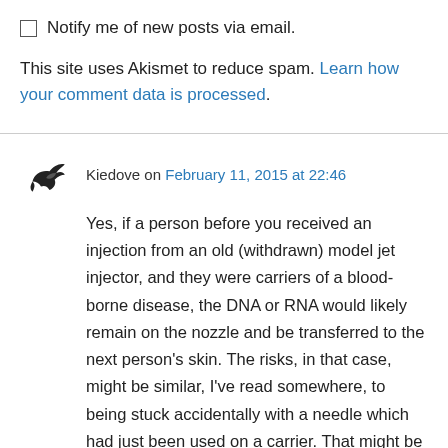Notify me of new posts via email.
This site uses Akismet to reduce spam. Learn how your comment data is processed.
Kiedove on February 11, 2015 at 22:46
Yes, if a person before you received an injection from an old (withdrawn) model jet injector, and they were carriers of a blood-borne disease, the DNA or RNA would likely remain on the nozzle and be transferred to the next person's skin. The risks, in that case, might be similar, I've read somewhere, to being stuck accidentally with a needle which had just been used on a carrier. That might be a 10% or less chance of actually